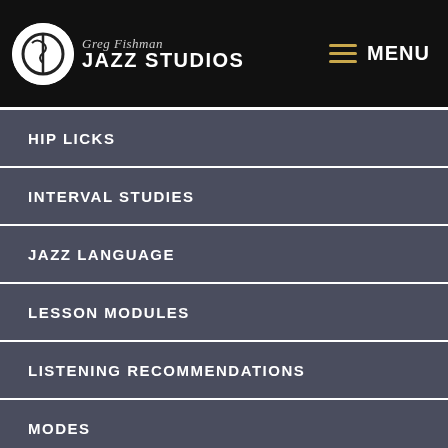Greg Fishman Jazz Studios — MENU
HIP LICKS
INTERVAL STUDIES
JAZZ LANGUAGE
LESSON MODULES
LISTENING RECOMMENDATIONS
MODES
MUSIC THEORY
PRACTICE STRATEGIES